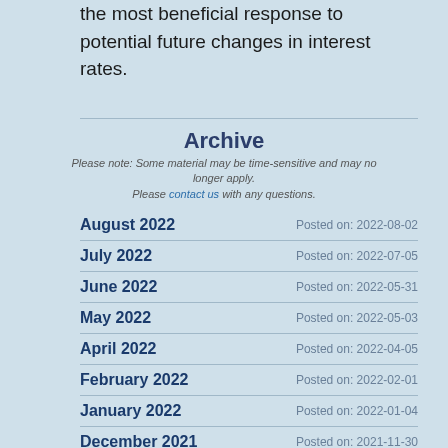the most beneficial response to potential future changes in interest rates.
Archive
Please note: Some material may be time-sensitive and may no longer apply. Please contact us with any questions.
August 2022 — Posted on: 2022-08-02
July 2022 — Posted on: 2022-07-05
June 2022 — Posted on: 2022-05-31
May 2022 — Posted on: 2022-05-03
April 2022 — Posted on: 2022-04-05
February 2022 — Posted on: 2022-02-01
January 2022 — Posted on: 2022-01-04
December 2021 — Posted on: 2021-11-30
November 2021 — Posted on: (partially visible)